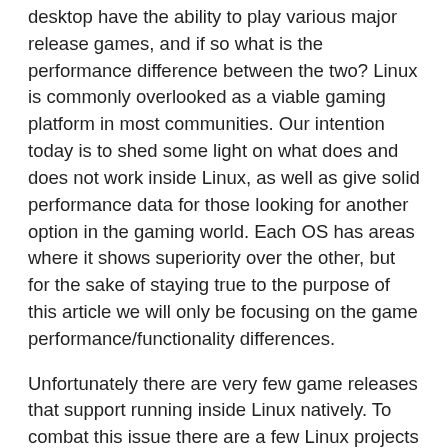desktop have the ability to play various major release games, and if so what is the performance difference between the two? Linux is commonly overlooked as a viable gaming platform in most communities. Our intention today is to shed some light on what does and does not work inside Linux, as well as give solid performance data for those looking for another option in the gaming world. Each OS has areas where it shows superiority over the other, but for the sake of staying true to the purpose of this article we will only be focusing on the game performance/functionality differences.
Unfortunately there are very few game releases that support running inside Linux natively. To combat this issue there are a few Linux projects that will allow Linux users to run Windows applications - note that we did not say "emulate Windows". We have selected three Linux projects in order to complete our initial round of testing. Our open source project selection "Wine" is a free, easily downloadable project that is created to support both Windows games and applications. The second selection, "Cedega", is a closed source implementation of Wine focused on gaming. The final